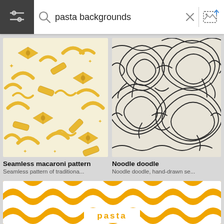[Figure (screenshot): Top navigation bar with hamburger/filter icon on dark background, search icon, search field showing 'pasta backgrounds', close X button, vertical divider, and image upload icon]
pasta backgrounds
[Figure (illustration): Seamless macaroni pattern — cream background with yellow pasta shapes (bow ties, macaroni, penne, rigatoni, stars)]
[Figure (illustration): Noodle doodle — black and white hand-drawn swirling noodle/spaghetti seamless pattern]
Seamless macaroni pattern
Seamless pattern of traditiona...
Noodle doodle
Noodle doodle, hand-drawn se...
[Figure (illustration): Golden/amber background with white wavy diagonal stripe pattern and 'pasta' text in white on a white rectangle at bottom center]